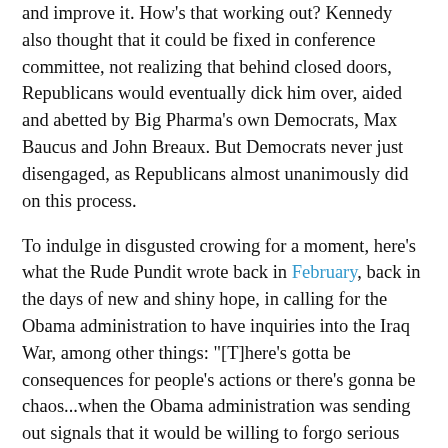and improve it. How's that working out? Kennedy also thought that it could be fixed in conference committee, not realizing that behind closed doors, Republicans would eventually dick him over, aided and abetted by Big Pharma's own Democrats, Max Baucus and John Breaux. But Democrats never just disengaged, as Republicans almost unanimously did on this process.
To indulge in disgusted crowing for a moment, here's what the Rude Pundit wrote back in February, back in the days of new and shiny hope, in calling for the Obama administration to have inquiries into the Iraq War, among other things: "[T]here's gotta be consequences for people's actions or there's gonna be chaos...when the Obama administration was sending out signals that it would be willing to forgo serious inquiries into who-authorized-what as it relates to the various -gates from the previous administration, that was an olive branch to Republicans, a way of saying, 'You give us some shit we need, we won't spank you for being accomplices to crimes' (by the way, Democrats don't get away clean on this). It was, in terms of the DC circle jerk of power, a pretty fuckin' big concession. Republicans took that